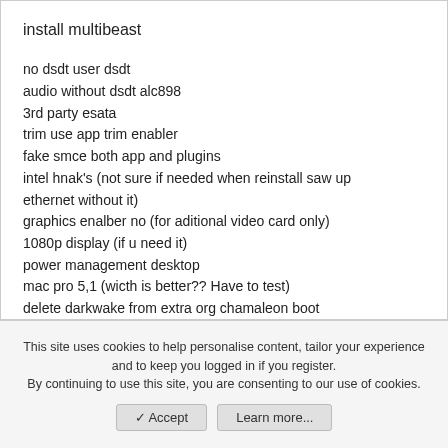install multibeast
no dsdt user dsdt
audio without dsdt alc898
3rd party esata
trim use app trim enabler
fake smce both app and plugins
intel hnak's (not sure if needed when reinstall saw up ethernet without it)
graphics enalber no (for aditional video card only)
1080p display (if u need it)
power management desktop
mac pro 5,1 (wicth is better?? Have to test)
delete darkwake from extra org chamaleon boot
delete appletymcdriver kext
This site uses cookies to help personalise content, tailor your experience and to keep you logged in if you register.
By continuing to use this site, you are consenting to our use of cookies.